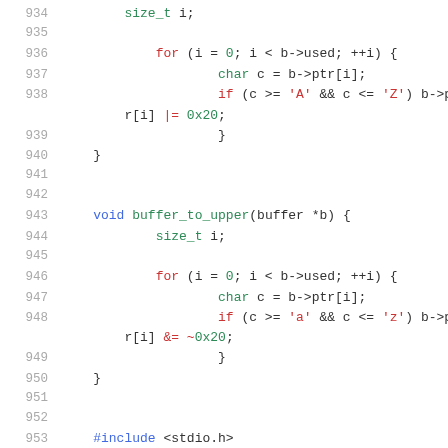Code listing lines 934-954, showing buffer_to_lower and buffer_to_upper C functions with line numbers
934    size_t i;
935    (blank)
936        for (i = 0; i < b->used; ++i) {
937            char c = b->ptr[i];
938            if (c >= 'A' && c <= 'Z') b->ptr[i] |= 0x20;
939            }
940    }
941    (blank)
942    (blank)
943    void buffer_to_upper(buffer *b) {
944        size_t i;
945    (blank)
946        for (i = 0; i < b->used; ++i) {
947            char c = b->ptr[i];
948            if (c >= 'a' && c <= 'z') b->ptr[i] &= ~0x20;
949            }
950    }
951    (blank)
952    (blank)
953    #include <stdio.h>
954    (partial)